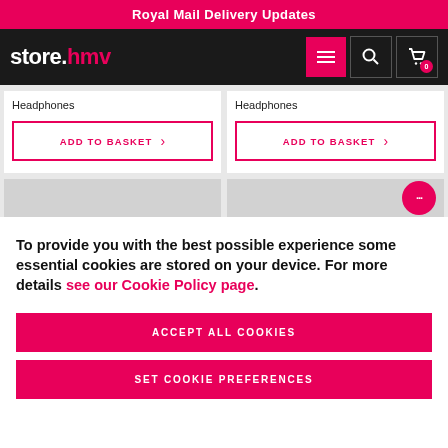Royal Mail Delivery Updates
[Figure (logo): store.hmv logo in white and pink on dark background with menu, search, and cart icons]
Headphones
ADD TO BASKET
Headphones
ADD TO BASKET
To provide you with the best possible experience some essential cookies are stored on your device. For more details see our Cookie Policy page.
ACCEPT ALL COOKIES
SET COOKIE PREFERENCES